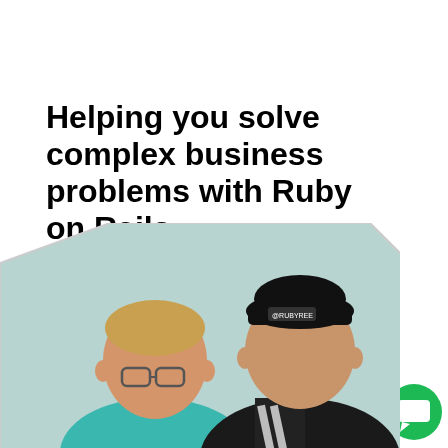Helping you solve complex business problems with Ruby on Rails.
[Figure (illustration): Green Ruby gem icon with sparkle lines above it, on white background]
To top
[Figure (photo): Two developers sitting and looking at a laptop. One has red/blond hair and glasses wearing teal shirt; the other wears a black cap with 'Rubyree' logo and black hoodie with text. Photo is inside a hexagonal-shaped clip area.]
[Figure (illustration): Green circle with white chat/comment bubble icon in bottom right corner]